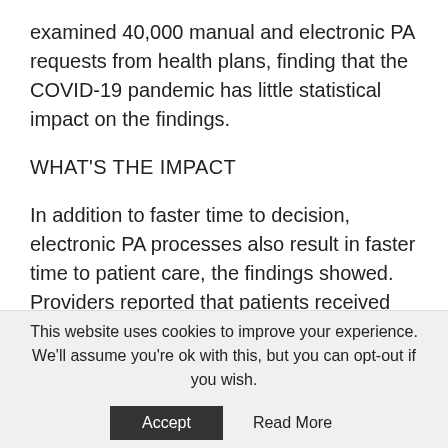examined 40,000 manual and electronic PA requests from health plans, finding that the COVID-19 pandemic has little statistical impact on the findings.
WHAT'S THE IMPACT
In addition to faster time to decision, electronic PA processes also result in faster time to patient care, the findings showed. Providers reported that patients received care faster after the former implemented electronic processes; among those [...]
Click here to view original web page at
This website uses cookies to improve your experience. We'll assume you're ok with this, but you can opt-out if you wish.